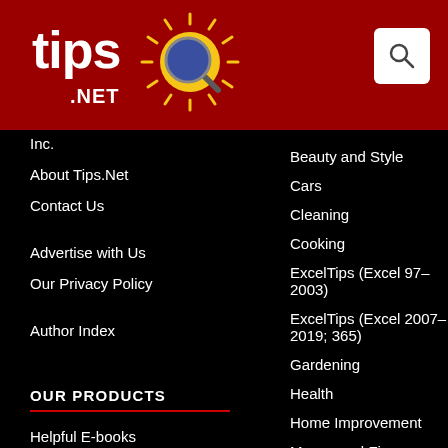[Figure (logo): Tips.Net logo with sun and magnifier icon on red header bar]
Inc.
About Tips.Net
Contact Us
Advertise with Us
Our Privacy Policy
Author Index
OUR PRODUCTS
Helpful E-books
Newsletter Archives
Video Courses
Beauty and Style
Cars
Cleaning
Cooking
ExcelTips (Excel 97–2003)
ExcelTips (Excel 2007–2019; 365)
Gardening
Health
Home Improvement
Money and Finances
Organizing
Pests and Bugs
Pets and Animals
WindowsTips (Microsoft